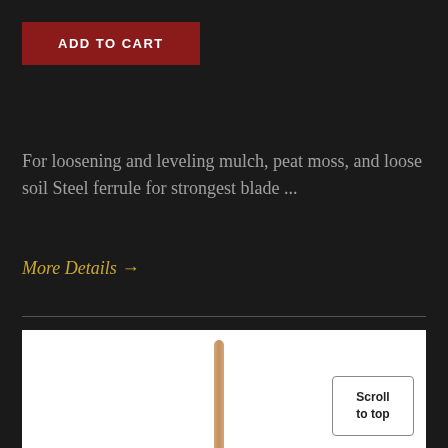ADD TO CART
For loosening and leveling mulch, peat moss, and loose soil Steel ferrule for strongest blade ...
More Details →
[Figure (photo): Product photo showing a wooden handle tool on white background with a 'Scroll to top' button overlay]